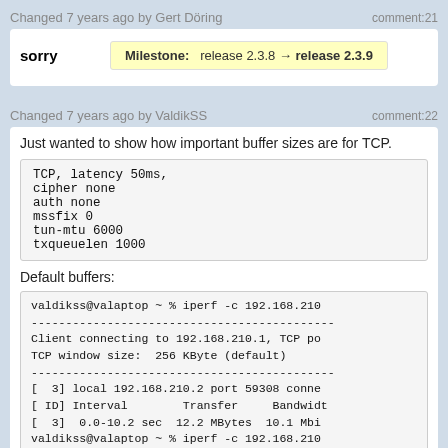Changed 7 years ago by Gert Döring    comment:21
sorry
Milestone:  release 2.3.8 → release 2.3.9
Changed 7 years ago by ValdikSS    comment:22
Just wanted to show how important buffer sizes are for TCP.
TCP, latency 50ms,
cipher none
auth none
mssfix 0
tun-mtu 6000
txqueuelen 1000
Default buffers:
valdikss@valaptop ~ % iperf -c 192.168.210
--------------------------------------------
Client connecting to 192.168.210.1, TCP po
TCP window size:  256 KByte (default)
--------------------------------------------
[  3] local 192.168.210.2 port 59308 conne
[ ID] Interval        Transfer     Bandwidt
[  3]  0.0-10.2 sec  12.2 MBytes  10.1 Mbi
valdikss@valaptop ~ % iperf -c 192.168.210
--------------------------------------------
Client connecting to 192.168.210.1, TCP po